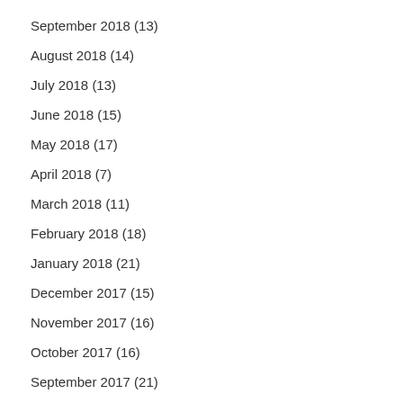September 2018 (13)
August 2018 (14)
July 2018 (13)
June 2018 (15)
May 2018 (17)
April 2018 (7)
March 2018 (11)
February 2018 (18)
January 2018 (21)
December 2017 (15)
November 2017 (16)
October 2017 (16)
September 2017 (21)
August 2017 (16)